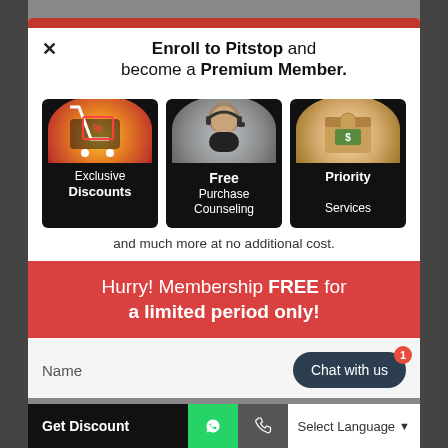Enroll to Pitstop and become a Premium Member.
[Figure (infographic): Three feature cards: Exclusive Discounts (shopping cart icon), Free Purchase Counseling (headset person icon), Priority Services (money/box icon)]
and much more at no additional cost.
Hurry! Membership FREE for a limited period only!
Name
Chat with us
Get Discount   Select Language